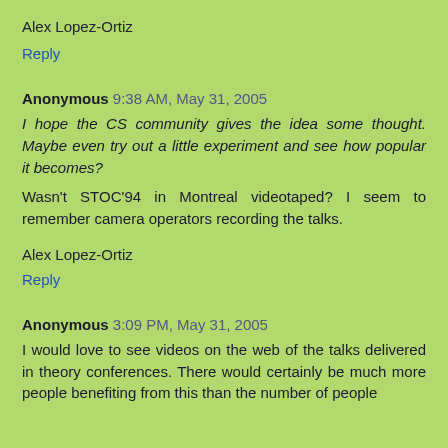Alex Lopez-Ortiz
Reply
Anonymous 9:38 AM, May 31, 2005
I hope the CS community gives the idea some thought. Maybe even try out a little experiment and see how popular it becomes?
Wasn't STOC'94 in Montreal videotaped? I seem to remember camera operators recording the talks.
Alex Lopez-Ortiz
Reply
Anonymous 3:09 PM, May 31, 2005
I would love to see videos on the web of the talks delivered in theory conferences. There would certainly be much more people benefiting from this than the number of people